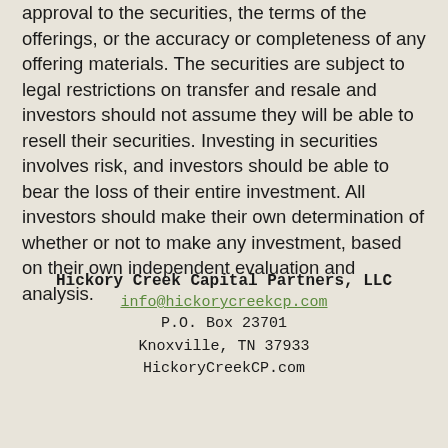approval to the securities, the terms of the offerings, or the accuracy or completeness of any offering materials. The securities are subject to legal restrictions on transfer and resale and investors should not assume they will be able to resell their securities. Investing in securities involves risk, and investors should be able to bear the loss of their entire investment. All investors should make their own determination of whether or not to make any investment, based on their own independent evaluation and analysis.
Hickory Creek Capital Partners, LLC
info@hickorycreekcp.com
P.O. Box 23701
Knoxville, TN 37933
HickoryCreekCP.com